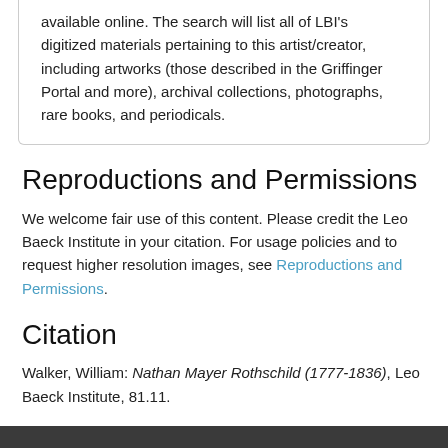available online. The search will list all of LBI's digitized materials pertaining to this artist/creator, including artworks (those described in the Griffinger Portal and more), archival collections, photographs, rare books, and periodicals.
Reproductions and Permissions
We welcome fair use of this content. Please credit the Leo Baeck Institute in your citation. For usage policies and to request higher resolution images, see Reproductions and Permissions.
Citation
Walker, William: Nathan Mayer Rothschild (1777-1836), Leo Baeck Institute, 81.11.